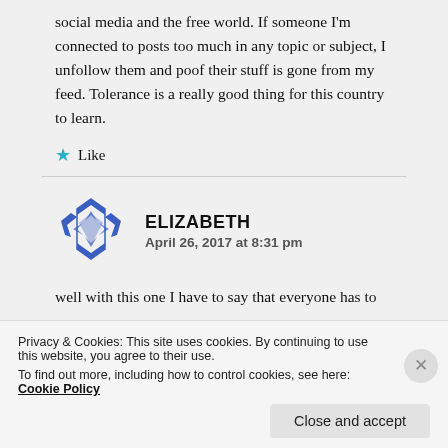social media and the free world. If someone I'm connected to posts too much in any topic or subject, I unfollow them and poof their stuff is gone from my feed. Tolerance is a really good thing for this country to learn.
Like
ELIZABETH
April 26, 2017 at 8:31 pm
well with this one I have to say that everyone has to
Privacy & Cookies: This site uses cookies. By continuing to use this website, you agree to their use.
To find out more, including how to control cookies, see here: Cookie Policy
Close and accept